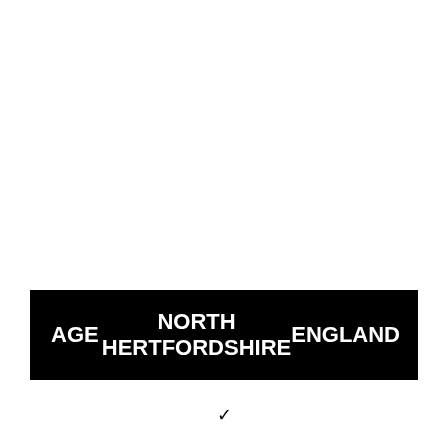| AGE | NORTH HERTFORDSHIRE | ENGLAND |
| --- | --- | --- |
✓